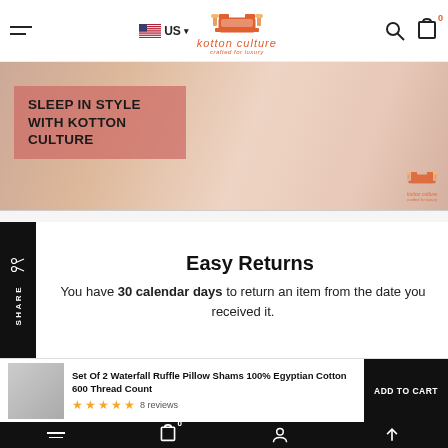[Figure (screenshot): Kotton Culture website header with hamburger menu, US flag with dropdown, and kotton culture logo (crafted for luxury), search and cart icons]
[Figure (photo): Banner image showing a bed with white linens and a pink semi-transparent overlay with text 'SLEEP IN STYLE WITH KOTTON CULTURE', kotton culture logo watermark at bottom right]
Easy Returns
You have 30 calendar days to return an item from the date you received it.
Set Of 2 Waterfall Ruffle Pillow Shams 100% Egyptian Cotton 600 Thread Count
8 reviews
Bottom navigation bar with menu, cart (0), user, and scroll-to-top icons